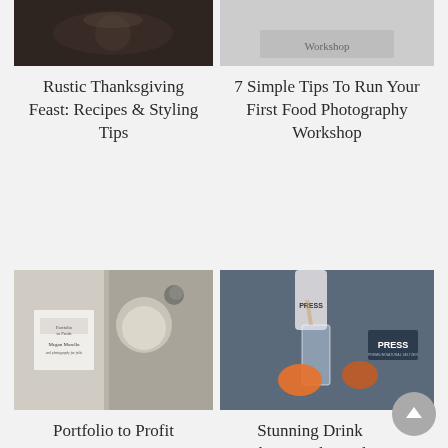[Figure (photo): Dark rustic food photography image showing decorative dish, top-left thumbnail]
[Figure (photo): Light gray image with text 'Workshop' visible at bottom, top-right thumbnail]
Rustic Thanksgiving Feast: Recipes & Styling Tips
7 Simple Tips To Run Your First Food Photography Workshop
[Figure (photo): Book cover and food photography image for Portfolio to Profit Apprentice by Megan Morello]
[Figure (photo): Drink photography with PRESS branded can pouring into a glass with citrus, dark background]
Portfolio to Profit Apprentice
Stunning Drink Photography with Luxury